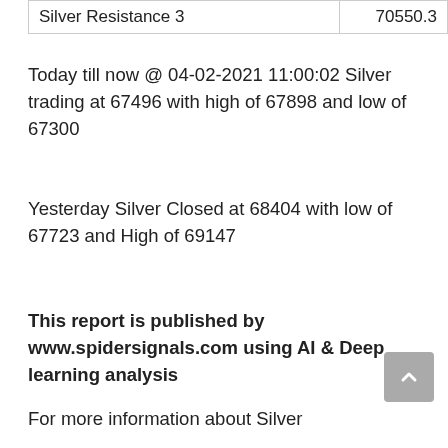| Silver Resistance 3 | 70550.3 |
Today till now @ 04-02-2021 11:00:02 Silver trading at 67496 with high of 67898 and low of 67300
Yesterday Silver Closed at 68404 with low of 67723 and High of 69147
This report is published by www.spidersignals.com using AI & Deep learning analysis
For more information about Silver